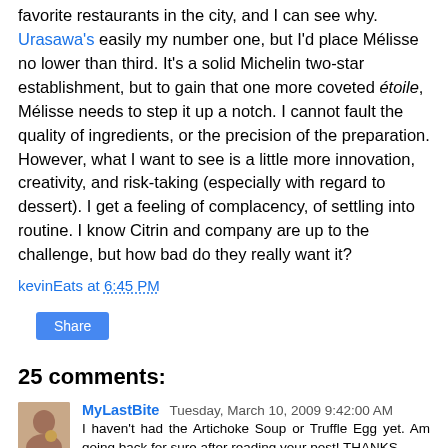favorite restaurants in the city, and I can see why. Urasawa's easily my number one, but I'd place Mélisse no lower than third. It's a solid Michelin two-star establishment, but to gain that one more coveted étoile, Mélisse needs to step it up a notch. I cannot fault the quality of ingredients, or the precision of the preparation. However, what I want to see is a little more innovation, creativity, and risk-taking (especially with regard to dessert). I get a feeling of complacency, of settling into routine. I know Citrin and company are up to the challenge, but how bad do they really want it?
kevinEats at 6:45 PM
Share
25 comments:
MyLastBite Tuesday, March 10, 2009 9:42:00 AM
I haven't had the Artichoke Soup or Truffle Egg yet. Am going back for sure after reading your post! THANKS.
Reply